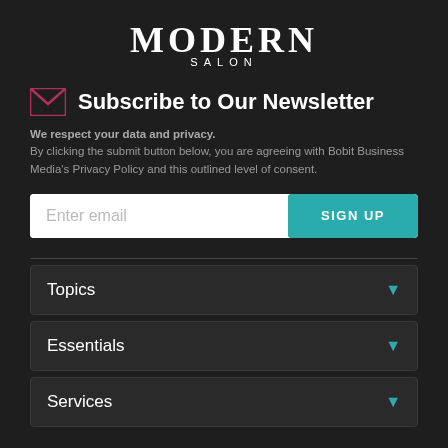[Figure (logo): Modern Salon logo — large serif MODERN text with SALON subtitle in small caps]
Subscribe to Our Newsletter
We respect your data and privacy. By clicking the submit button below, you are agreeing with Bobit Business Media's Privacy Policy and this outlined level of consent.
Enter email [SIGN UP button]
Topics
Essentials
Services